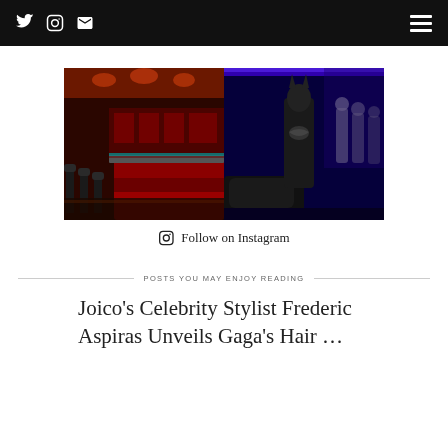Twitter Instagram Email | Menu
[Figure (photo): Two Instagram photos side by side: left shows a red-themed diner interior with booths and bar stools; right shows a Batman costume/statue in a dark blue-lit display room]
Follow on Instagram
POSTS YOU MAY ENJOY READING
Joico's Celebrity Stylist Frederic Aspiras Unveils Gaga's Hair ...